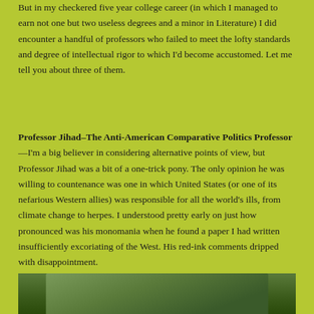But in my checkered five year college career (in which I managed to earn not one but two useless degrees and a minor in Literature) I did encounter a handful of professors who failed to meet the lofty standards and degree of intellectual rigor to which I'd become accustomed. Let me tell you about three of them.
Professor Jihad–The Anti-American Comparative Politics Professor—I'm a big believer in considering alternative points of view, but Professor Jihad was a bit of a one-trick pony. The only opinion he was willing to countenance was one in which United States (or one of its nefarious Western allies) was responsible for all the world's ills, from climate change to herpes. I understood pretty early on just how pronounced was his monomania when he found a paper I had written insufficiently excoriating of the West. His red-ink comments dripped with disappointment.
[Figure (photo): Partial photo of a person outdoors, cropped at the bottom of the page, with green foliage visible in the background.]